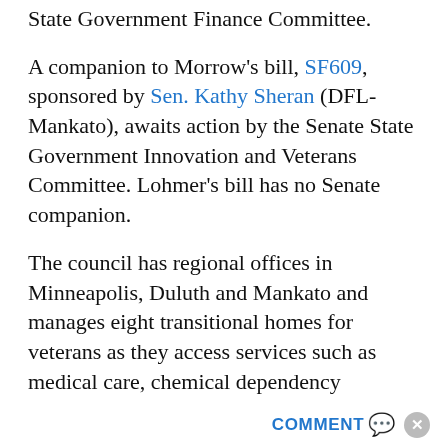State Government Finance Committee.
A companion to Morrow’s bill, SF609, sponsored by Sen. Kathy Sheran (DFL-Mankato), awaits action by the Senate State Government Innovation and Veterans Committee. Lohmer’s bill has no Senate companion.
The council has regional offices in Minneapolis, Duluth and Mankato and manages eight transitional homes for veterans as they access services such as medical care, chemical dependency treatment and job skills training. The agency works with other social and veterans services organizations so as not to duplicate services. Without the council, Namen said he wouldn’t be here today.
COMMENT